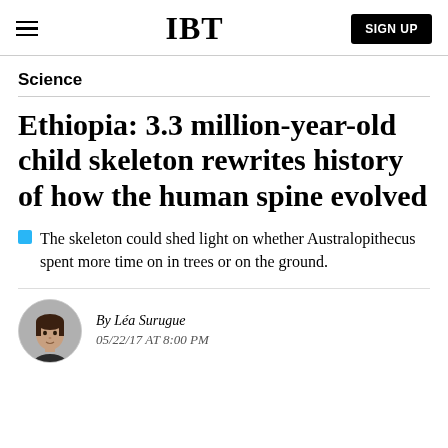IBT | SIGN UP
Science
Ethiopia: 3.3 million-year-old child skeleton rewrites history of how the human spine evolved
The skeleton could shed light on whether Australopithecus spent more time on in trees or on the ground.
By Léa Surugue
05/22/17 AT 8:00 PM